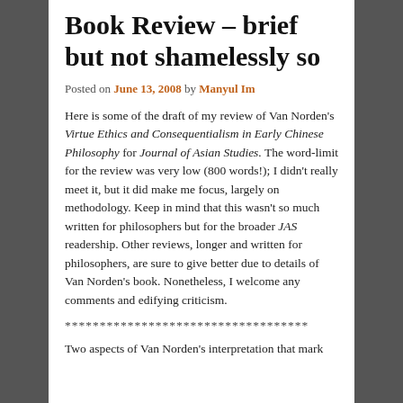Book Review – brief but not shamelessly so
Posted on June 13, 2008 by Manyul Im
Here is some of the draft of my review of Van Norden's Virtue Ethics and Consequentialism in Early Chinese Philosophy for Journal of Asian Studies. The word-limit for the review was very low (800 words!); I didn't really meet it, but it did make me focus, largely on methodology. Keep in mind that this wasn't so much written for philosophers but for the broader JAS readership. Other reviews, longer and written for philosophers, are sure to give better due to details of Van Norden's book. Nonetheless, I welcome any comments and edifying criticism.
***********************************
Two aspects of Van Norden's interpretation that mark